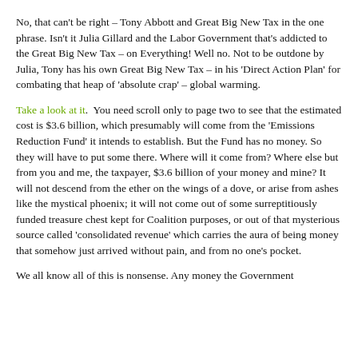No, that can't be right – Tony Abbott and Great Big New Tax in the one phrase. Isn't it Julia Gillard and the Labor Government that's addicted to the Great Big New Tax – on Everything! Well no. Not to be outdone by Julia, Tony has his own Great Big New Tax – in his 'Direct Action Plan' for combating that heap of 'absolute crap' – global warming.
Take a look at it.  You need scroll only to page two to see that the estimated cost is $3.6 billion, which presumably will come from the 'Emissions Reduction Fund' it intends to establish. But the Fund has no money. So they will have to put some there. Where will it come from? Where else but from you and me, the taxpayer, $3.6 billion of your money and mine? It will not descend from the ether on the wings of a dove, or arise from ashes like the mystical phoenix; it will not come out of some surreptitiously funded treasure chest kept for Coalition purposes, or out of that mysterious source called 'consolidated revenue' which carries the aura of being money that somehow just arrived without pain, and from no one's pocket.
We all know all of this is nonsense. Any money the Government